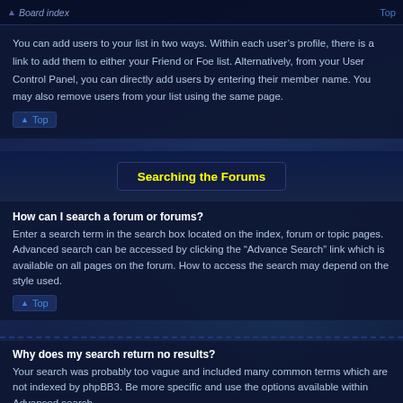Board index | Top
You can add users to your list in two ways. Within each user's profile, there is a link to add them to either your Friend or Foe list. Alternatively, from your User Control Panel, you can directly add users by entering their member name. You may also remove users from your list using the same page.
Searching the Forums
How can I search a forum or forums?
Enter a search term in the search box located on the index, forum or topic pages. Advanced search can be accessed by clicking the “Advance Search” link which is available on all pages on the forum. How to access the search may depend on the style used.
Why does my search return no results?
Your search was probably too vague and included many common terms which are not indexed by phpBB3. Be more specific and use the options available within Advanced search.
Why does my search return a blank page!?
Your search returned too many results for the webserver to handle. Use “Advanced search” and be more specific in the terms used and forums that are to be searched.